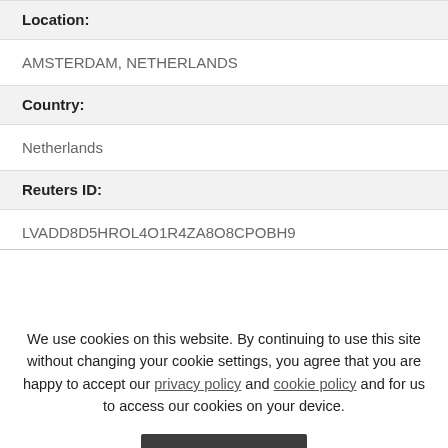Location:
AMSTERDAM, NETHERLANDS
Country:
Netherlands
Reuters ID:
LVADD8D5HROL4O1R4ZA8O8CPOBH9
We use cookies on this website. By continuing to use this site without changing your cookie settings, you agree that you are happy to accept our privacy policy and cookie policy and for us to access our cookies on your device.
Accept